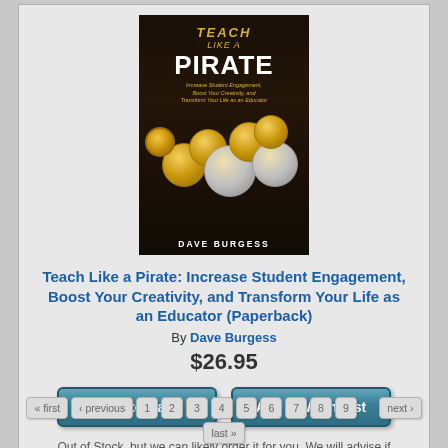[Figure (photo): Book cover of 'Teach Like a Pirate' by Dave Burgess showing gold coins on a dark background]
Teach Like a Pirate: Increase Student Engagement, Boost Your Creativity, and Transform Your Life as an Educator (Paperback)
By Dave Burgess
$26.95
Add to Cart
Add to Wish List
Out of Stock, but we can likely order it for you. We will advise if we cannot.
« first ‹ previous 1 2 3 4 5 6 7 8 9 … next › last »